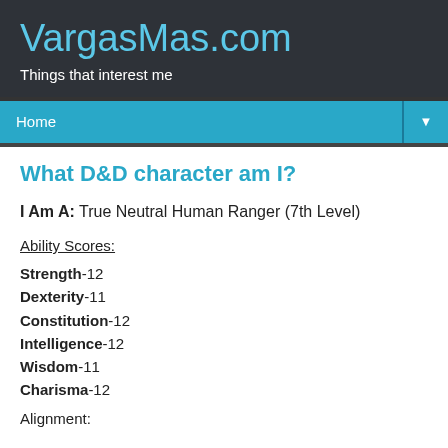VargasMas.com
Things that interest me
Home
What D&D character am I?
I Am A: True Neutral Human Ranger (7th Level)
Ability Scores:
Strength-12
Dexterity-11
Constitution-12
Intelligence-12
Wisdom-11
Charisma-12
Alignment: